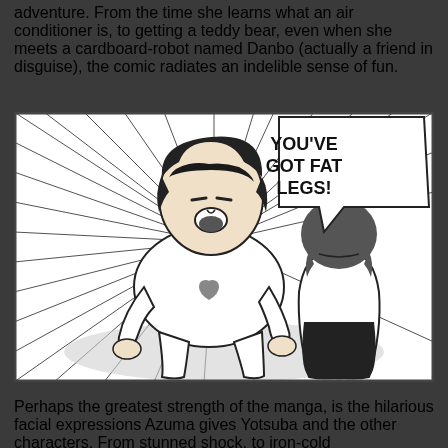adventure. From the time she learns what an air conditioner is, to getting a teddy bear, even when she meets a cardboard-robot named Danbo (actually a friend in disguise), the comic radiates an indelible sense of fun.
[Figure (illustration): Manga panel showing a girl with short dark hair in a white t-shirt with a heart design, leaning forward with a shocked expression, with action lines radiating around her. A speech bubble reads 'YOU'VE GOT FAT LEGS!' from another character visible on the right side of the panel.]
Perhaps the greatest strength of the manga, is the hilarious facial expressions Azuma gives Yotsuba and the other characters. From stunned shock, to iron-cold